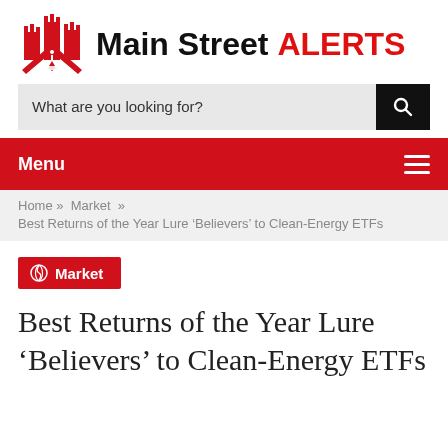[Figure (logo): Main Street ALERTS logo with red castle/city icon and text]
What are you looking for?
Menu
Home » Market » Best Returns of the Year Lure 'Believers' to Clean-Energy ETFs
Market
Best Returns of the Year Lure 'Believers' to Clean-Energy ETFs